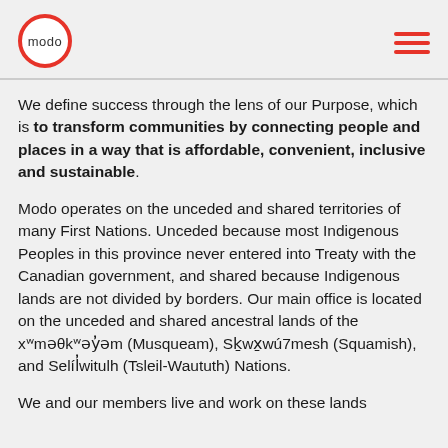modo (logo)
We define success through the lens of our Purpose, which is to transform communities by connecting people and places in a way that is affordable, convenient, inclusive and sustainable.
Modo operates on the unceded and shared territories of many First Nations. Unceded because most Indigenous Peoples in this province never entered into Treaty with the Canadian government, and shared because Indigenous lands are not divided by borders. Our main office is located on the unceded and shared ancestral lands of the xʷməθkʷəy̓əm (Musqueam), Sḵwx̱wú7mesh (Squamish), and Selíl̓witulh (Tsleil-Waututh) Nations.
We and our members live and work on these lands